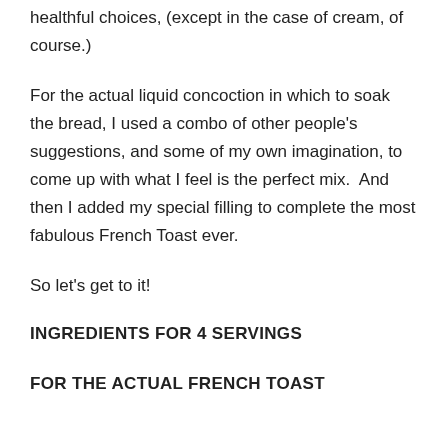healthful choices, (except in the case of cream, of course.)
For the actual liquid concoction in which to soak the bread, I used a combo of other people's suggestions, and some of my own imagination, to come up with what I feel is the perfect mix.  And then I added my special filling to complete the most fabulous French Toast ever.
So let's get to it!
INGREDIENTS FOR 4 SERVINGS
FOR THE ACTUAL FRENCH TOAST